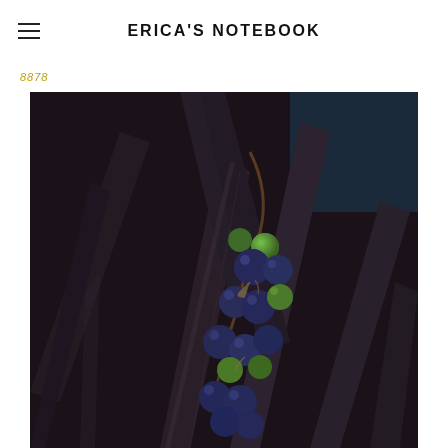ERICA'S NOTEBOOK
8878
[Figure (photo): Close-up photograph of a dark-leafed plant (likely Ophiopogon planiscapus 'Nigrescens' or similar black mondo grass / flax) with clusters of dark blue-black and green berries hanging from a thin brown stem, set against a background of deep purple-black strap-like leaves and a glimpse of blue sky.]